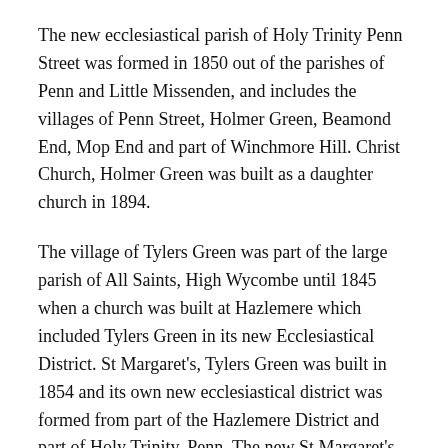The new ecclesiastical parish of Holy Trinity Penn Street was formed in 1850 out of the parishes of Penn and Little Missenden, and includes the villages of Penn Street, Holmer Green, Beamond End, Mop End and part of Winchmore Hill. Christ Church, Holmer Green was built as a daughter church in 1894.
The village of Tylers Green was part of the large parish of All Saints, High Wycombe until 1845 when a church was built at Hazlemere which included Tylers Green in its new Ecclesiastical District. St Margaret's, Tylers Green was built in 1854 and its own new ecclesiastical district was formed from part of the Hazlemere District and part of Holy Trinity, Penn. The new St Margaret's ecclesiastical parish was not agreed until 1863.
Historically village life revolved around the church, and these websites have been created to preserve the history of those churches and their parishes...